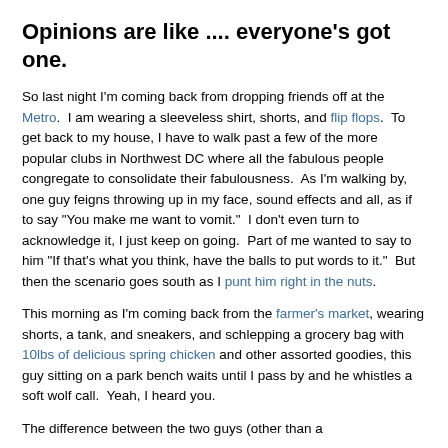Opinions are like .... everyone's got one.
So last night I'm coming back from dropping friends off at the Metro. I am wearing a sleeveless shirt, shorts, and flip flops. To get back to my house, I have to walk past a few of the more popular clubs in Northwest DC where all the fabulous people congregate to consolidate their fabulousness. As I'm walking by, one guy feigns throwing up in my face, sound effects and all, as if to say "You make me want to vomit." I don't even turn to acknowledge it, I just keep on going. Part of me wanted to say to him "If that's what you think, have the balls to put words to it." But then the scenario goes south as I punt him right in the nuts.
This morning as I'm coming back from the farmer's market, wearing shorts, a tank, and sneakers, and schlepping a grocery bag with 10lbs of delicious spring chicken and other assorted goodies, this guy sitting on a park bench waits until I pass by and he whistles a soft wolf call. Yeah, I heard you.
The difference between the two guys (other than a